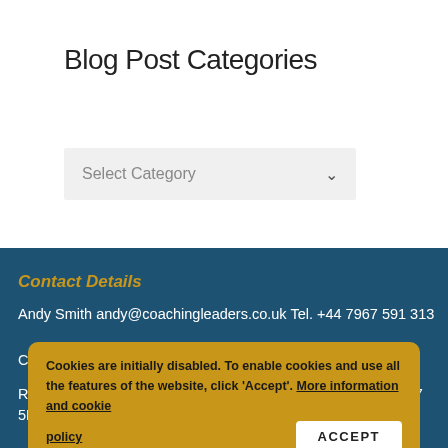Blog Post Categories
[Figure (screenshot): Dropdown selector labelled 'Select Category' with a chevron arrow on the right, on a light grey background]
Contact Details
Andy Smith andy@coachingleaders.co.uk Tel. +44 7967 591 313
Coaching Leaders Ltd. Reg. No. 06843445765
Registered Office: 6 Station View, Hazel Grove, Stockport, SK7 5ER
Cookies are initially disabled. To enable cookies and use all the features of the website, click 'Accept'. More information and cookie policy   ACCEPT